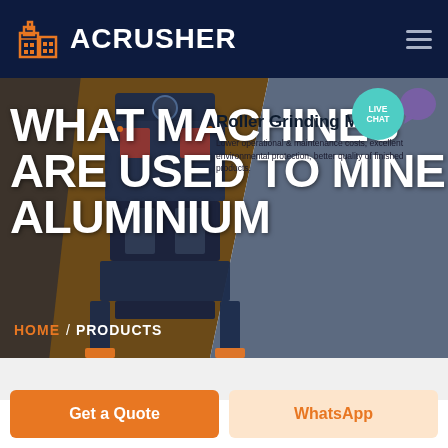[Figure (logo): Acrusher brand logo with orange building/factory icon and white text ACRUSHER on dark navy header]
WHAT MACHINES ARE USED TO MINE ALUMINIUM
[Figure (screenshot): Product card overlay showing Roller Grinding Mill with description: Lower operational & maintenance costs, excellent environmental protection, better quality of finished products. Live Chat badge in teal circle. Purple chat bubble icon. Industrial crusher machine image in the background.]
Roller Grinding Mill
Lower operational & maintenance costs, excellent environmental protection, better quality of finished products.
HOME / PRODUCTS
Get a Quote
WhatsApp